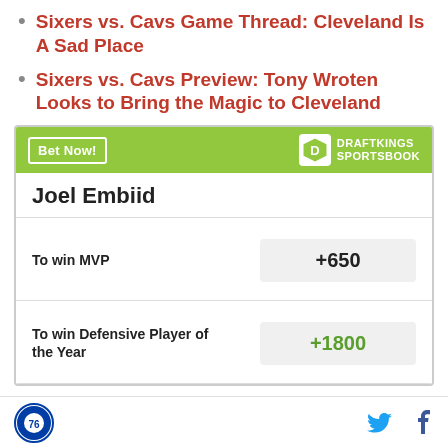Sixers vs. Cavs Game Thread: Cleveland Is A Sad Place
Sixers vs. Cavs Preview: Tony Wroten Looks to Bring the Magic to Cleveland
| Joel Embiid |  |
| --- | --- |
| To win MVP | +650 |
| To win Defensive Player of the Year | +1800 |
Philadelphia 76ers logo, Twitter icon, Facebook icon